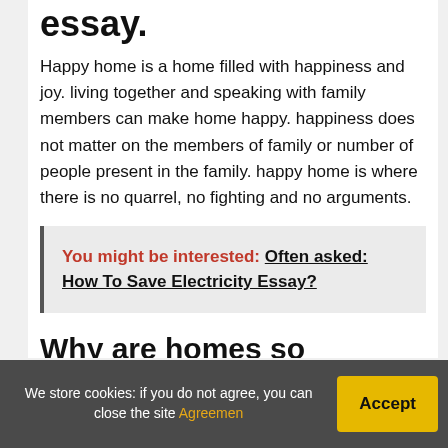essay.
Happy home is a home filled with happiness and joy. living together and speaking with family members can make home happy. happiness does not matter on the members of family or number of people present in the family. happy home is where there is no quarrel, no fighting and no arguments.
You might be interested:  Often asked: How To Save Electricity Essay?
Why are homes so important?
Humans, however, add layers of significance to home and place. Home provides security, control, belonging, identity, and privacy, among other things. "But most of all, it's a place
We store cookies: if you do not agree, you can close the site Agreemen